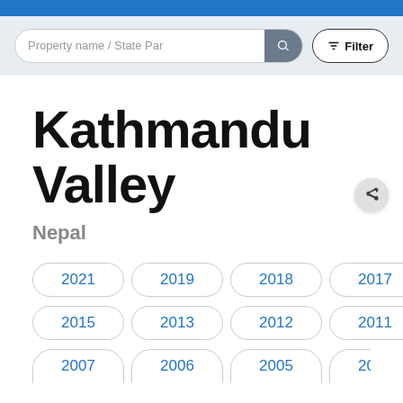Property name / State Part [search bar] Filter
Kathmandu Valley
Nepal
2021
2019
2018
2017
2016
2015
2013
2012
2011
2008
2007
2006
2005
2004
2003